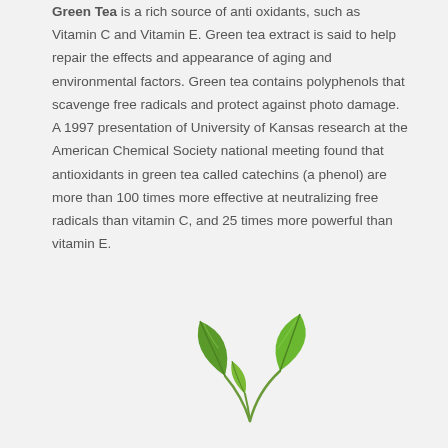Green Tea is a rich source of anti oxidants, such as Vitamin C and Vitamin E. Green tea extract is said to help repair the effects and appearance of aging and environmental factors. Green tea contains polyphenols that scavenge free radicals and protect against photo damage. A 1997 presentation of University of Kansas research at the American Chemical Society national meeting found that antioxidants in green tea called catechins (a phenol) are more than 100 times more effective at neutralizing free radicals than vitamin C, and 25 times more powerful than vitamin E.
[Figure (illustration): Green tea leaves illustration — two green leaves on a small stem]